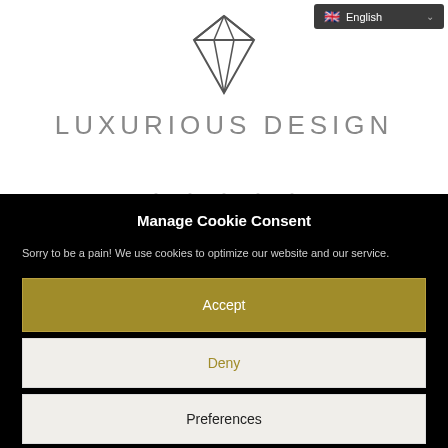[Figure (logo): Diamond wireframe logo icon in dark gray outline style]
LUXURIOUS DESIGN
Manage Cookie Consent
Sorry to be a pain! We use cookies to optimize our website and our service.
Accept
Deny
Preferences